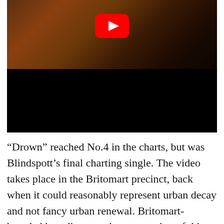[Figure (screenshot): YouTube video thumbnail showing a dark indoor scene, likely the Britomart precinct, with a YouTube play button overlay in the top center.]
“Drown” reached No.4 in the charts, but was Blindspott’s final charting single. The video takes place in the Britomart precinct, back when it could reasonably represent urban decay and not fancy urban renewal. Britomart-branded hoardings can be seen, a sign of things to come. As well as Blindspott being tall…